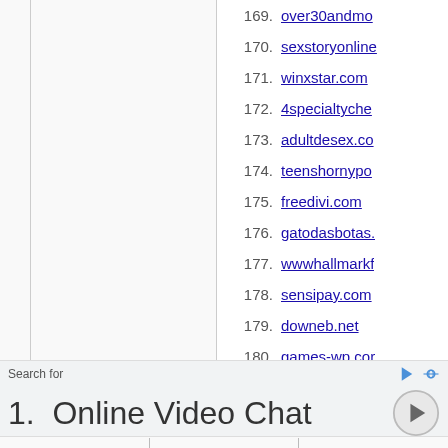169. over30andmo
170. sexstoryonline
171. winxstar.com
172. 4specialtyche
173. adultdesex.co
174. teenshornypo
175. freedivi.com
176. gatodasbotas.
177. wwwhallmarkf
178. sensipay.com
179. downeb.net
180. games-wp.cor
Search for
1.  Online Video Chat